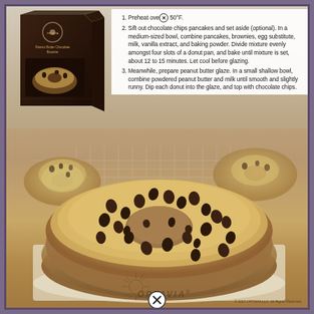[Figure (photo): Product box of OPTAVIA Peanut Butter Chocolate Brownie mix, dark brown packaging with logo and product image]
Preheat oven to 350°F.
Sift out chocolate chips pancakes and set aside (optional). In a medium-sized bowl, combine pancakes, brownies, egg substitute, milk, vanilla extract, and baking powder. Divide mixture evenly amongst four slots of a donut pan, and bake until mixture is set, about 12 to 15 minutes. Let cool before glazing.
Meanwhile, prepare peanut butter glaze. In a small shallow bowl, combine powdered peanut butter and milk until smooth and slightly runny. Dip each donut into the glaze, and top with chocolate chips.
[Figure (photo): Close-up photograph of a baked donut with peanut butter glaze and chocolate chips on top, sitting on parchment paper. Additional glazed donuts visible in the background on a cooling rack.]
© 2017 OPTAVIA LLC. All Rights Reserved.